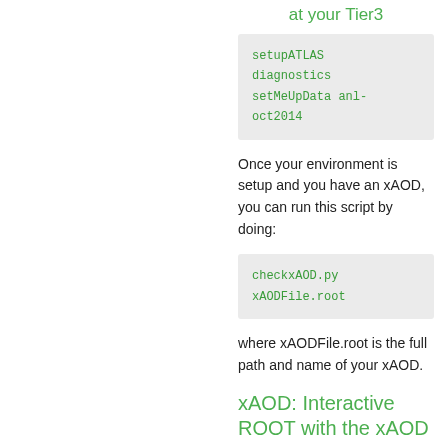at your Tier3
setupATLAS
diagnostics
setMeUpData anl-oct2014
Once your environment is setup and you have an xAOD, you can run this script by doing:
checkxAOD.py xAODFile.root
where xAODFile.root is the full path and name of your xAOD.
xAOD: Interactive ROOT with the xAOD